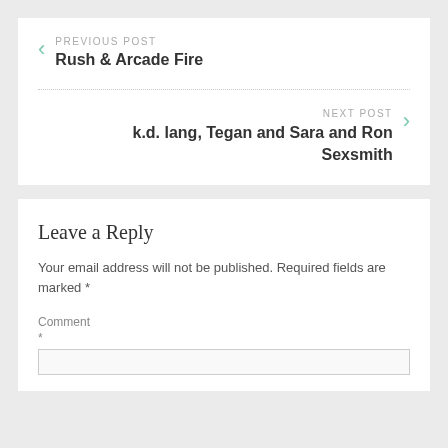PREVIOUS POST
Rush & Arcade Fire
NEXT POST
k.d. lang, Tegan and Sara and Ron Sexsmith
Leave a Reply
Your email address will not be published. Required fields are marked *
Comment
*